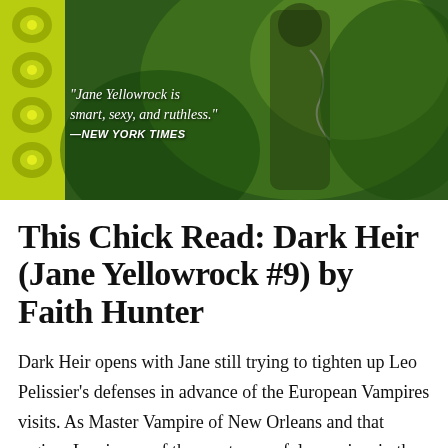[Figure (illustration): Book cover image for Dark Heir by Faith Hunter showing a figure in dark clothing with weapons against a green atmospheric background with decorative yellow-green border on the left side. Contains a quote: "Jane Yellowrock is smart, sexy, and ruthless." — NEW YORK TIMES]
This Chick Read: Dark Heir (Jane Yellowrock #9) by Faith Hunter
Dark Heir opens with Jane still trying to tighten up Leo Pelissier's defenses in advance of the European Vampires visits. As Master Vampire of New Orleans and that region, Leo is one of the most powerful vampires in the western